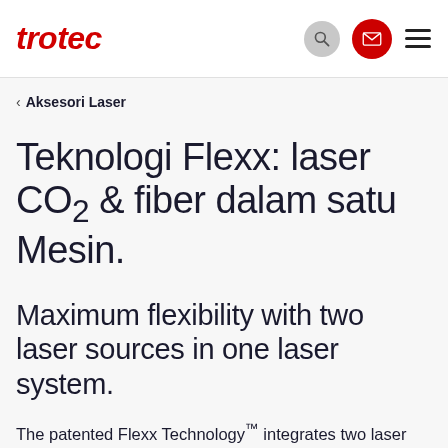trotec
‹ Aksesori Laser
Teknologi Flexx: laser CO₂ & fiber dalam satu Mesin.
Maximum flexibility with two laser sources in one laser system.
The patented Flexx Technology™ integrates two laser